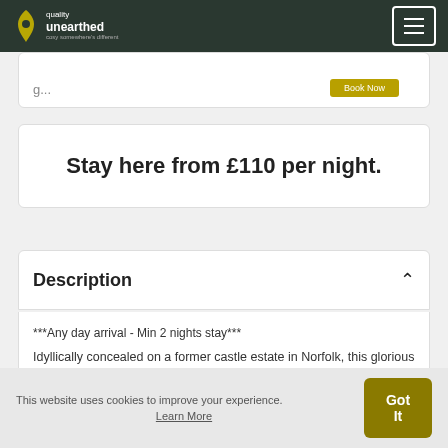Quality Unearthed
Stay here from £110 per night.
Description
***Any day arrival - Min 2 nights stay***

Idyllically concealed on a former castle estate in Norfolk, this glorious glamping accommodation combines French
This website uses cookies to improve your experience. Learn More  Got It